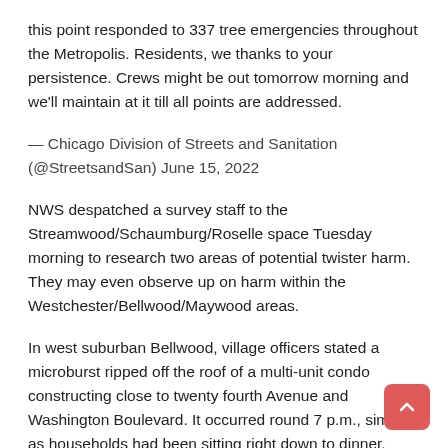this point responded to 337 tree emergencies throughout the Metropolis. Residents, we thanks to your persistence. Crews might be out tomorrow morning and we'll maintain at it till all points are addressed.
— Chicago Division of Streets and Sanitation (@StreetsandSan) June 15, 2022
NWS despatched a survey staff to the Streamwood/Schaumburg/Roselle space Tuesday morning to research two areas of potential twister harm. They may even observe up on harm within the Westchester/Bellwood/Maywood areas.
In west suburban Bellwood, village officers stated a microburst ripped off the roof of a multi-unit condo constructing close to twenty fourth Avenue and Washington Boulevard. It occurred round 7 p.m., simply as households had been sitting right down to dinner.
SEE MORE: Native officers urge warning as warmth wave strikes into space